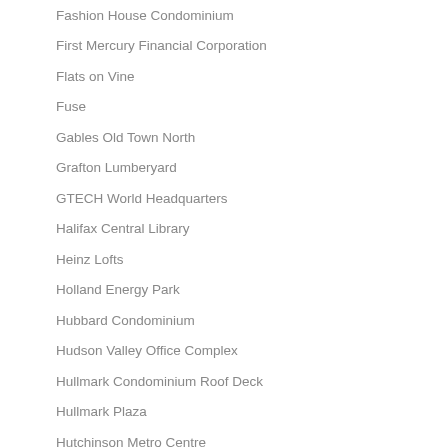Fashion House Condominium
First Mercury Financial Corporation
Flats on Vine
Fuse
Gables Old Town North
Grafton Lumberyard
GTECH World Headquarters
Halifax Central Library
Heinz Lofts
Holland Energy Park
Hubbard Condominium
Hudson Valley Office Complex
Hullmark Condominium Roof Deck
Hullmark Plaza
Hutchinson Metro Centre
Hyatt Regency Chicago
IBEW Local 134